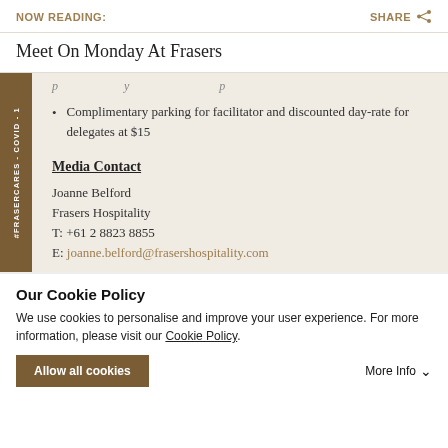NOW READING:   SHARE
Meet On Monday At Frasers
Complimentary parking for facilitator and discounted day-rate for delegates at $15
Media Contact
Joanne Belford
Frasers Hospitality
T: +61 2 8823 8855
E: joanne.belford@frasershospitality.com
Our Cookie Policy
We use cookies to personalise and improve your user experience. For more information, please visit our Cookie Policy.
Allow all cookies   More Info